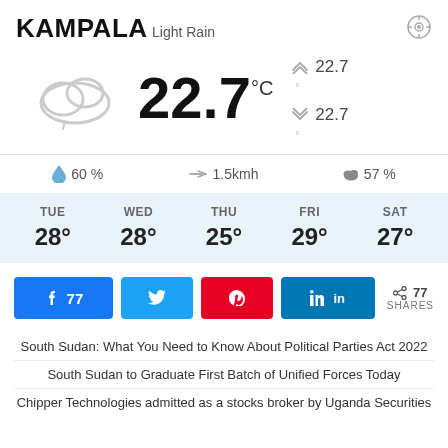KAMPALA
Light Rain
[Figure (infographic): Weather widget showing cloud icon, current temperature 22.7°C, high 22.7, low 22.7, humidity 60%, wind 1.5kmh, cloud cover 57%, and 5-day forecast: TUE 28°, WED 28°, THU 25°, FRI 29°, SAT 27°]
77 SHARES
South Sudan: What You Need to Know About Political Parties Act 2022
South Sudan to Graduate First Batch of Unified Forces Today
Chipper Technologies admitted as a stocks broker by Uganda Securities